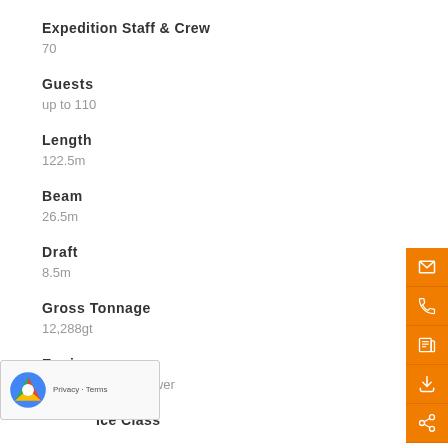Expedition Staff & Crew
70
Guests
up to 110
Length
122.5m
Beam
26.5m
Draft
8.5m
Gross Tonnage
12,288gt
Engine
0 horsepower
Ice Class